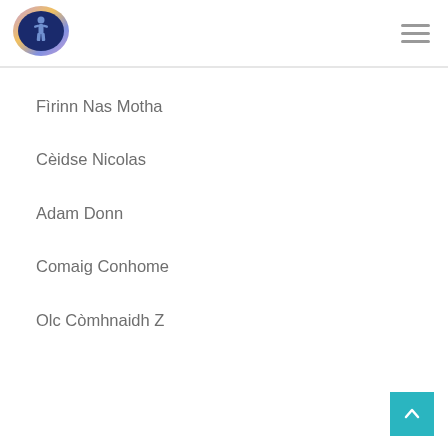[Figure (logo): Oval logo with dark blue background and figure/person silhouette, with colorful border]
Fìrinn Nas Motha
Cèidse Nicolas
Adam Donn
Comaig Conhome
Olc Còmhnaidh Z